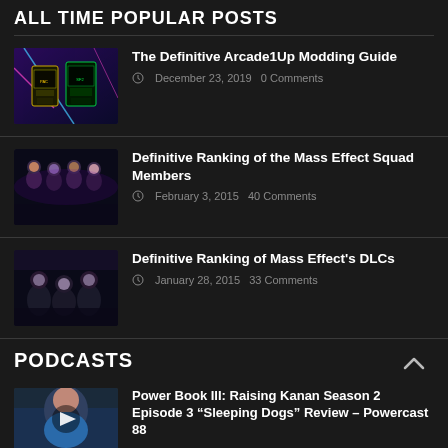ALL TIME POPULAR POSTS
The Definitive Arcade1Up Modding Guide — December 23, 2019  0 Comments
Definitive Ranking of the Mass Effect Squad Members — February 3, 2015  40 Comments
Definitive Ranking of Mass Effect's DLCs — January 28, 2015  33 Comments
PODCASTS
Power Book III: Raising Kanan Season 2 Episode 3 "Sleeping Dogs" Review – Powercast 88